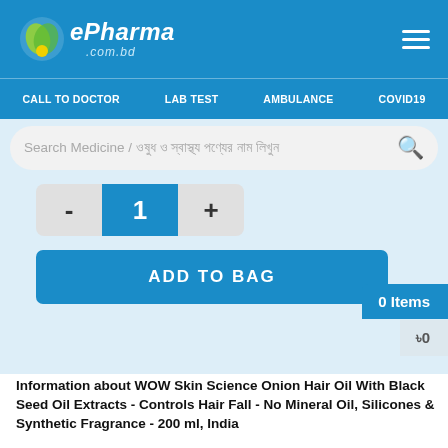ePharma .com.bd
CALL TO DOCTOR   LAB TEST   AMBULANCE   COVID19
Search Medicine / ওষুধ ও স্বাস্থ্য পণ্যের নাম লিখুন
- 1 +
ADD TO BAG
0 Items
৳0
Information about WOW Skin Science Onion Hair Oil With Black Seed Oil Extracts - Controls Hair Fall - No Mineral Oil, Silicones & Synthetic Fragrance - 200 ml, India
Give your hair the necessary nourishment to help fight hair and scalp problems with WOW Skin Science Onion